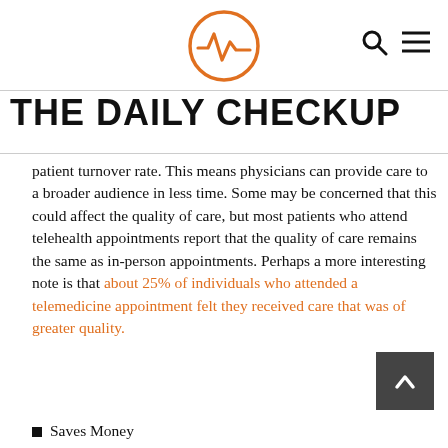THE DAILY CHECKUP
THE DAILY CHECKUP
patient turnover rate. This means physicians can provide care to a broader audience in less time. Some may be concerned that this could affect the quality of care, but most patients who attend telehealth appointments report that the quality of care remains the same as in-person appointments. Perhaps a more interesting note is that about 25% of individuals who attended a telemedicine appointment felt they received care that was of greater quality.
Saves Money